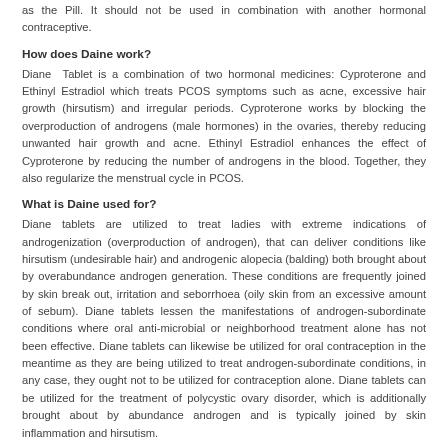as the Pill. It should not be used in combination with another hormonal contraceptive.
How does Daine work?
Diane Tablet is a combination of two hormonal medicines: Cyproterone and Ethinyl Estradiol which treats PCOS symptoms such as acne, excessive hair growth (hirsutism) and irregular periods. Cyproterone works by blocking the overproduction of androgens (male hormones) in the ovaries, thereby reducing unwanted hair growth and acne. Ethinyl Estradiol enhances the effect of Cyproterone by reducing the number of androgens in the blood. Together, they also regularize the menstrual cycle in PCOS.
What is Daine used for?
Diane tablets are utilized to treat ladies with extreme indications of androgenization (overproduction of androgen), that can deliver conditions like hirsutism (undesirable hair) and androgenic alopecia (balding) both brought about by overabundance androgen generation. These conditions are frequently joined by skin break out, irritation and seborrhoea (oily skin from an excessive amount of sebum). Diane tablets lessen the manifestations of androgen-subordinate conditions where oral anti-microbial or neighborhood treatment alone has not been effective. Diane tablets can likewise be utilized for oral contraception in the meantime as they are being utilized to treat androgen-subordinate conditions, in any case, they ought not to be utilized for contraception alone. Diane tablets can be utilized for the treatment of polycystic ovary disorder, which is additionally brought about by abundance androgen and is typically joined by skin inflammation and hirsutism.
How to use Daine?
Take this medicine in the dose and duration as advised by your doctor. Swallow it as a whole. Do not chew, crush or break it. Diane 35 Tablet may be taken with or without food, but it is better to take it at a fixed time.